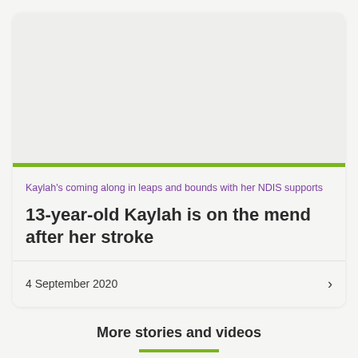[Figure (photo): Image placeholder area for Kaylah story (light grey rectangle)]
Kaylah's coming along in leaps and bounds with her NDIS supports
13-year-old Kaylah is on the mend after her stroke
4 September 2020
More stories and videos